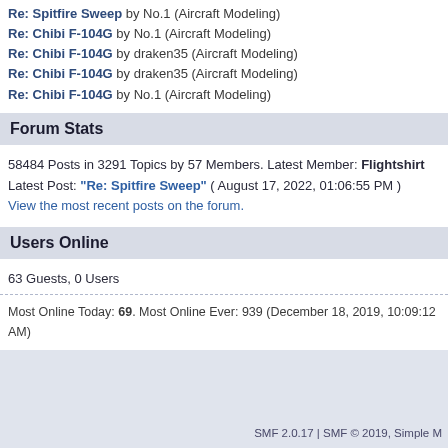Re: Spitfire Sweep by No.1 (Aircraft Modeling)
Re: Chibi F-104G by No.1 (Aircraft Modeling)
Re: Chibi F-104G by draken35 (Aircraft Modeling)
Re: Chibi F-104G by draken35 (Aircraft Modeling)
Re: Chibi F-104G by No.1 (Aircraft Modeling)
Forum Stats
58484 Posts in 3291 Topics by 57 Members. Latest Member: Flightshirt
Latest Post: "Re: Spitfire Sweep" ( August 17, 2022, 01:06:55 PM )
View the most recent posts on the forum.
Users Online
63 Guests, 0 Users
Most Online Today: 69. Most Online Ever: 939 (December 18, 2019, 10:09:12 AM)
SMF 2.0.17 | SMF © 2019, Simple M
Simple Audio Video Embedd
XHTML   RSS   WAP2
Page created in 0.061 seconds with